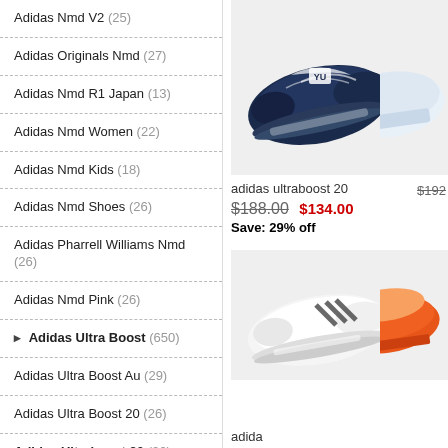Adidas Nmd V2 (25)
Adidas Originals Nmd (27)
Adidas Nmd R1 Japan (13)
Adidas Nmd Women (22)
Adidas Nmd Kids (18)
Adidas Nmd Shoes (26)
Adidas Pharrell Williams Nmd (26)
Adidas Nmd Pink (26)
▶ Adidas Ultra Boost (650)
Adidas Ultra Boost Au (29)
Adidas Ultra Boost 20 (26)
Adidas Ultraboost 20 (26)
Adidas Ultra Boost Women (27)
Adidas Ultra Boost 21 (15)
Adidas Ultra Boost 19 (18)
Adidas Ultra Boost Black (26)
[Figure (photo): Adidas ultraboost 20 shoe - navy blue with white pattern, top view on gray background]
adidas ultraboost 20
$188.00  $134.00  Save: 29% off
[Figure (photo): Adidas white ultraboost shoe, side view on gray background]
[Figure (photo): Partial view of orange/red Adidas shoe on gray background]
$192... (partial price)